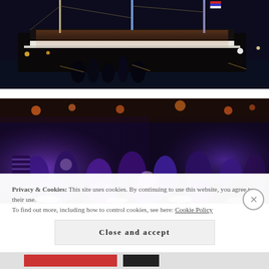[Figure (photo): Night photograph of a tall sailing ship illuminated with lights at a waterfront, with people gathered nearby on the dock. The ship has multiple masts lit up against a dark sky with water visible in the background.]
[Figure (photo): Night event photo showing a crowd of people gathered outdoors under purple/blue lighting, with glowing tables or fixtures visible. People are seated and standing, illuminated by the vivid purple light.]
Privacy & Cookies: This site uses cookies. By continuing to use this website, you agree to their use.
To find out more, including how to control cookies, see here: Cookie Policy
Close and accept